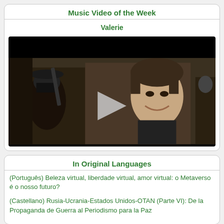Music Video of the Week
Valerie
[Figure (screenshot): Video thumbnail showing a scene with two people, one masked with a weapon on the left and a young smiling man in the center, with a play button overlay]
In Original Languages
(Português) Beleza virtual, liberdade virtual, amor virtual: o Metaverso é o nosso futuro?
(Castellano) Rusia-Ucrania-Estados Unidos-OTAN (Parte VI): De la Propaganda de Guerra al Periodismo para la Paz